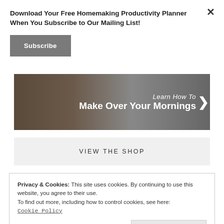Download Your Free Homemaking Productivity Planner When You Subscribe to Our Mailing List!
Subscribe
[Figure (illustration): Banner image with dark background showing text 'Learn How To Make Over Your Mornings' with a right arrow chevron, over a photo of people]
VIEW THE SHOP
Privacy & Cookies: This site uses cookies. By continuing to use this website, you agree to their use.
To find out more, including how to control cookies, see here:
Cookie Policy
Close and accept